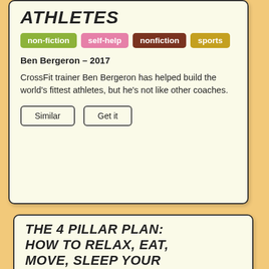Athletes
non-fiction | self-help | nonfiction | sports
Ben Bergeron – 2017
CrossFit trainer Ben Bergeron has helped build the world's fittest athletes, but he's not like other coaches.
Similar | Get it
The 4 Pillar Plan: How to Relax, Eat, Move, Sleep Your Way to a Longer...